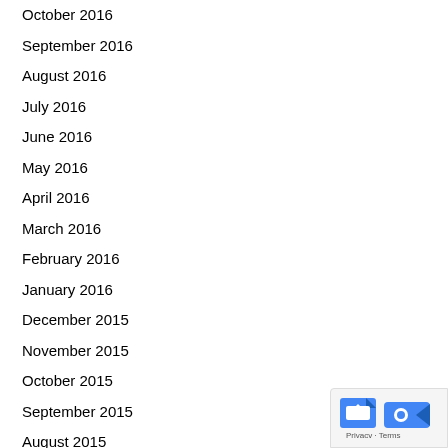October 2016
September 2016
August 2016
July 2016
June 2016
May 2016
April 2016
March 2016
February 2016
January 2016
December 2015
November 2015
October 2015
September 2015
August 2015
[Figure (logo): Google privacy widget with blue and white camera icon, Privacy and Terms links]